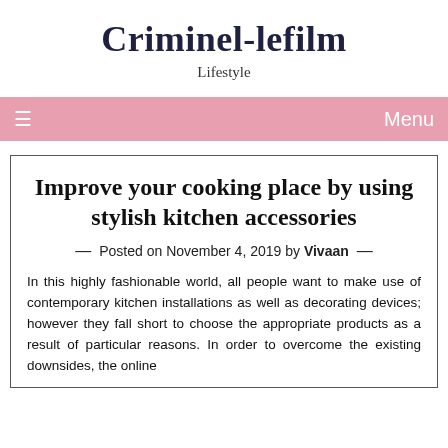Criminel-lefilm
Lifestyle
Improve your cooking place by using stylish kitchen accessories
— Posted on November 4, 2019 by Vivaan —
In this highly fashionable world, all people want to make use of contemporary kitchen installations as well as decorating devices; however they fall short to choose the appropriate products as a result of particular reasons. In order to overcome the existing downsides, the online